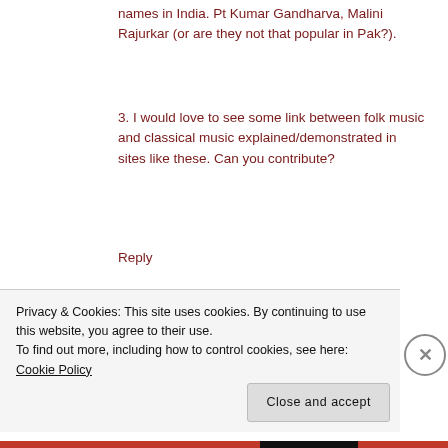names in India. Pt Kumar Gandharva, Malini Rajurkar (or are they not that popular in Pak?).
3. I would love to see some link between folk music and classical music explained/demonstrated in sites like these. Can you contribute?
Reply
chiradip bhattacharyya says:
September 4, 2006 at 3:35 pm
Privacy & Cookies: This site uses cookies. By continuing to use this website, you agree to their use.
To find out more, including how to control cookies, see here: Cookie Policy